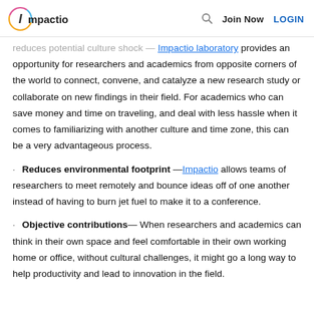Impactio | Join Now | LOGIN
reduces potential culture shock — Impactio laboratory provides an opportunity for researchers and academics from opposite corners of the world to connect, convene, and catalyze a new research study or collaborate on new findings in their field. For academics who can save money and time on traveling, and deal with less hassle when it comes to familiarizing with another culture and time zone, this can be a very advantageous process.
Reduces environmental footprint — Impactio allows teams of researchers to meet remotely and bounce ideas off of one another instead of having to burn jet fuel to make it to a conference.
Objective contributions— When researchers and academics can think in their own space and feel comfortable in their own working home or office, without cultural challenges, it might go a long way to help productivity and lead to innovation in the field.